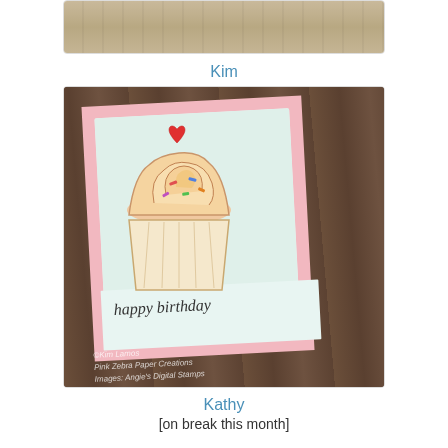[Figure (photo): Top portion of a photo showing a wooden background, partially cropped]
Kim
[Figure (photo): Handmade birthday card by Kim Lamos / Pink Zebra Paper Creations featuring a cupcake with a red heart topper on a patterned background. Text reads 'happy birthday'. Watermark: ©Kim Lamos, Pink Zebra Paper Creations, Images: Angie's Digital Stamps]
Kathy
[on break this month]